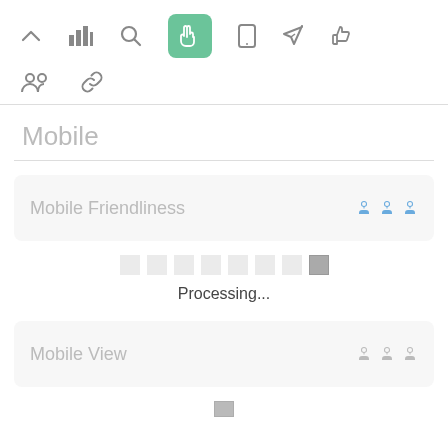[Figure (screenshot): Top navigation toolbar with icons: chevron up, bar chart, search, hand/cursor (active, green background), mobile phone, send/rocket, thumbs up]
[Figure (screenshot): Second toolbar row with icons: group of people, link/chain]
Mobile
Mobile Friendliness
[Figure (other): Progress bar made of 8 small square blocks (lighter) and 1 darker square block at the end, indicating loading progress]
Processing...
Mobile View